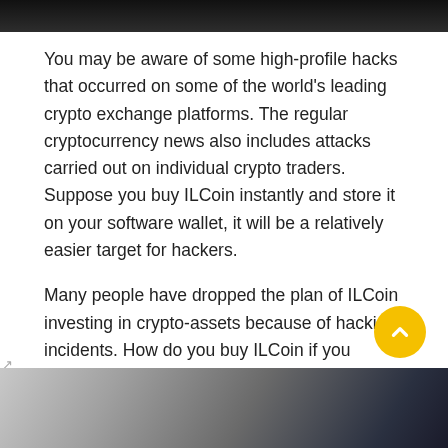[Figure (photo): Top portion of a photo showing a person against a dark background, cropped at the top of the page]
You may be aware of some high-profile hacks that occurred on some of the world's leading crypto exchange platforms. The regular cryptocurrency news also includes attacks carried out on individual crypto traders. Suppose you buy ILCoin instantly and store it on your software wallet, it will be a relatively easier target for hackers.
Many people have dropped the plan of ILCoin investing in crypto-assets because of hacking incidents. How do you buy ILCoin if you cannot keep your keys safe? Whatever cryptocurrency you buy, you essential purchase a private key. This key comprises essential information which is used to control the transaction of that cryptocurrency on the Blockchain.
[Figure (photo): Bottom portion of a photo showing hands, partially cropped at the bottom of the page]